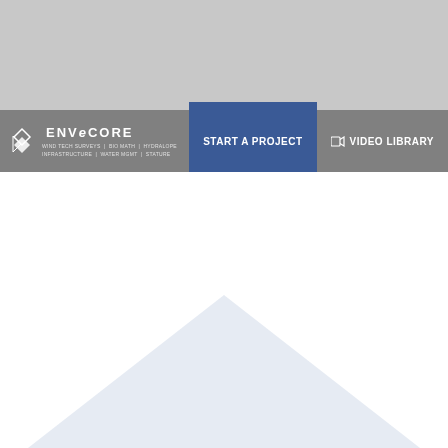[Figure (screenshot): EnveCore website navigation bar with logo, Start a Project button, and Video Library link on a gray background. Below the nav bar is a white content area with a light blue/gray mountain or triangle shape visible at the bottom of the page.]